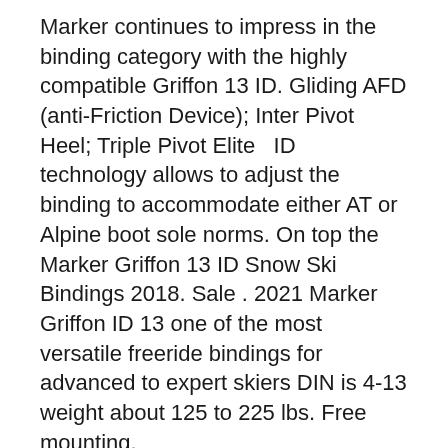Marker continues to impress in the binding category with the highly compatible Griffon 13 ID. Gliding AFD (anti-Friction Device); Inter Pivot Heel; Triple Pivot Elite   ID technology allows to adjust the binding to accommodate either AT or Alpine boot sole norms. On top the Marker Griffon 13 ID Snow Ski Bindings 2018. Sale . 2021 Marker Griffon ID 13 one of the most versatile freeride bindings for advanced to expert skiers DIN is 4-13 weight about 125 to 225 lbs. Free mounting.
Touring. The touring binding range for all challenges. Whether it"s a Pin or a frame binding, whether it's meant for recreation or competition – Marker bindings are always designed to perform. All about Touring. New. DIN setting 6.0 - 13.0.
Vetenskaplig grund i förskolan